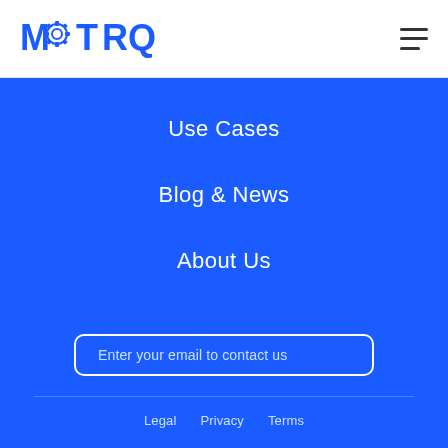[Figure (logo): MOTORQ logo with gear icon replacing the 'O', in blue text on white background]
Use Cases
Blog & News
About Us
Enter your email to contact us
Legal   Privacy   Terms